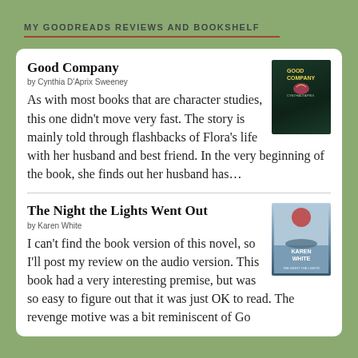MY GOODREADS REVIEWS AND BOOKSHELF
Good Company
by Cynthia D'Aprix Sweeney
As with most books that are character studies, this one didn't move very fast. The story is mainly told through flashbacks of Flora's life with her husband and best friend. In the very beginning of the book, she finds out her husband has…
The Night the Lights Went Out
by Karen White
I can't find the book version of this novel, so I'll post my review on the audio version. This book had a very interesting premise, but was so easy to figure out that it was just OK to read. The revenge motive was a bit reminiscent of Go